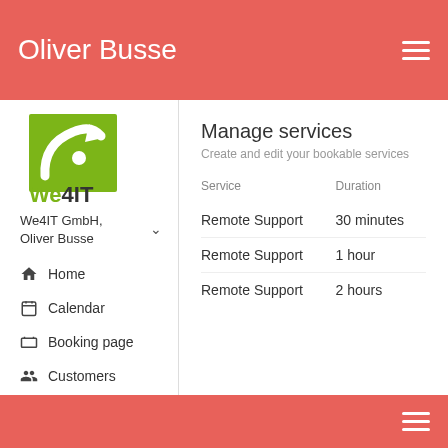Oliver Busse
[Figure (logo): We4IT GmbH logo — green square with white curved arrow/letter i shape, text 'We4IT' below in green and black]
We4IT GmbH, Oliver Busse
Home
Calendar
Booking page
Customers
Staff
Services
Manage services
Create and edit your bookable services
| Service | Duration |
| --- | --- |
| Remote Support | 30 minutes |
| Remote Support | 1 hour |
| Remote Support | 2 hours |